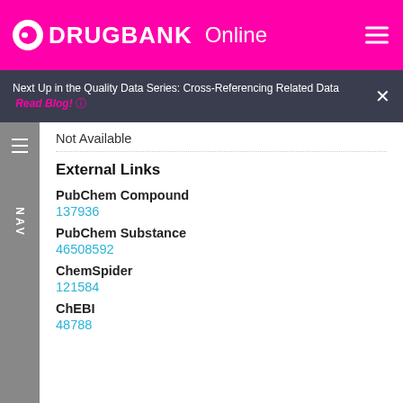DRUGBANK Online
Next Up in the Quality Data Series: Cross-Referencing Related Data  Read Blog! ⊙  ×
Not Available
External Links
PubChem Compound
137936
PubChem Substance
46508592
ChemSpider
121584
ChEBI
48788